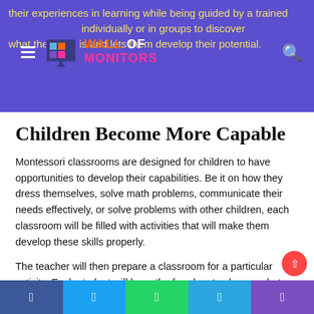their experiences in learning while being guided by a trained ... individually or in groups to discover what the world is and lets them develop their potential.
Children Become More Capable
Montessori classrooms are designed for children to have opportunities to develop their capabilities. Be it on how they dress themselves, solve math problems, communicate their needs effectively, or solve problems with other children, each classroom will be filled with activities that will make them develop these skills properly.
The teacher will then prepare a classroom for a particular activity. Each student will have the freedom to choose what kind of activities they would like to do. By allowing children t
Facebook | Twitter | WhatsApp | Telegram | Phone